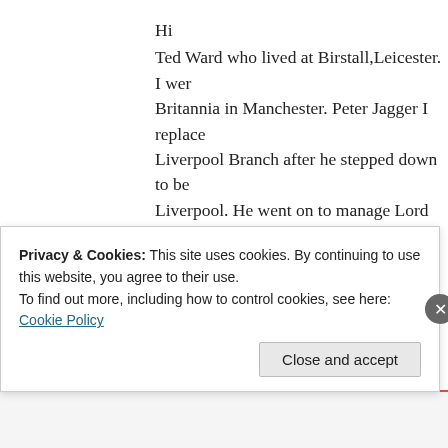Hi
Ted Ward who lived at Birstall,Leicester. I wer Britannia in Manchester. Peter Jagger I replace Liverpool Branch after he stepped down to be Liverpool. He went on to manage Lord Street St.Birmingham.
Regards.
Bernard
★ Like
Reply
David Skelham says:
Privacy & Cookies: This site uses cookies. By continuing to use this website, you agree to their use.
To find out more, including how to control cookies, see here: Cookie Policy
Close and accept